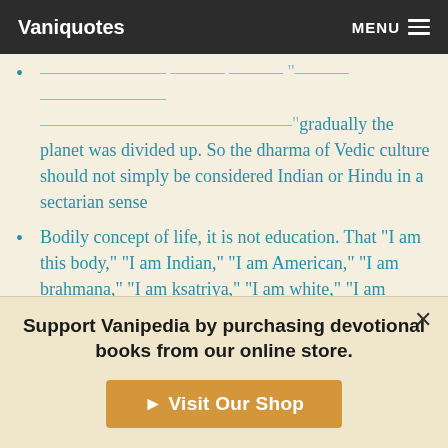Vaniquotes | MENU
…gradually the planet was divided up. So the dharma of Vedic culture should not simply be considered Indian or Hindu in a sectarian sense
Bodily concept of life, it is not education. That "I am this body," "I am Indian," "I am American," "I am brahmana," "I am ksatriya," "I am white," "I am black," this education is going on in the name of nationalism, communism, socialism
By pushing on this authorized spiritual movement you can make a real adjustment of the western material science
Support Vanipedia by purchasing devotional books from our online store.
Visit Our Shop